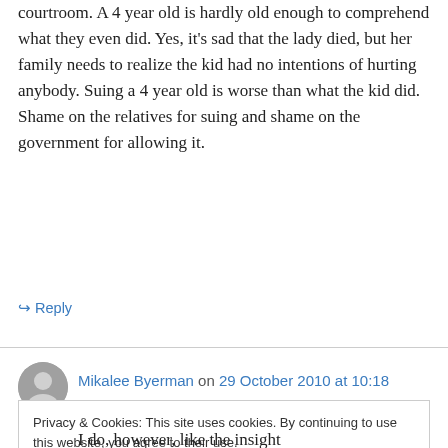courtroom. A 4 year old is hardly old enough to comprehend what they even did. Yes, it's sad that the lady died, but her family needs to realize the kid had no intentions of hurting anybody. Suing a 4 year old is worse than what the kid did. Shame on the relatives for suing and shame on the government for allowing it.
↪ Reply
Mikalee Byerman on 29 October 2010 at 10:18
Privacy & Cookies: This site uses cookies. By continuing to use this website, you agree to their use.
To find out more, including how to control cookies, see here: Cookie Policy
Close and accept
I do, however, like the insight